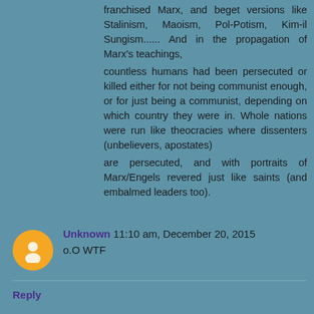franchised Marx, and beget versions like Stalinism, Maoism, Pol-Potism, Kim-il Sungism...... And in the propagation of Marx's teachings, countless humans had been persecuted or killed either for not being communist enough, or for just being a communist, depending on which country they were in. Whole nations were run like theocracies where dissenters (unbelievers, apostates) are persecuted, and with portraits of Marx/Engels revered just like saints (and embalmed leaders too).
Unknown  11:10 am, December 20, 2015
o.O WTF
Reply